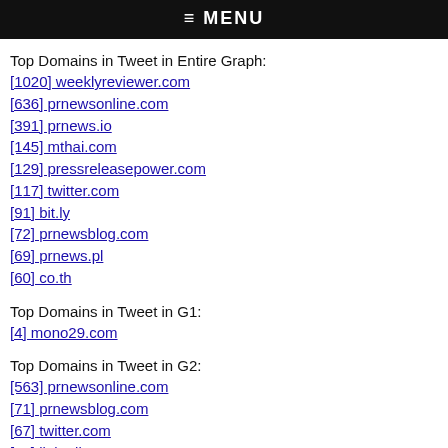≡ MENU
Top Domains in Tweet in Entire Graph:
[1020] weeklyreviewer.com
[636] prnewsonline.com
[391] prnews.io
[145] mthai.com
[129] pressreleasepower.com
[117] twitter.com
[91] bit.ly
[72] prnewsblog.com
[69] prnews.pl
[60] co.th
Top Domains in Tweet in G1:
[4] mono29.com
Top Domains in Tweet in G2:
[563] prnewsonline.com
[71] prnewsblog.com
[67] twitter.com
[15] linkedin.com
[6] prmuseum.org
[6] ow.ly
[5] reputationus.com
[5] elon.edu
[4] bit.ly